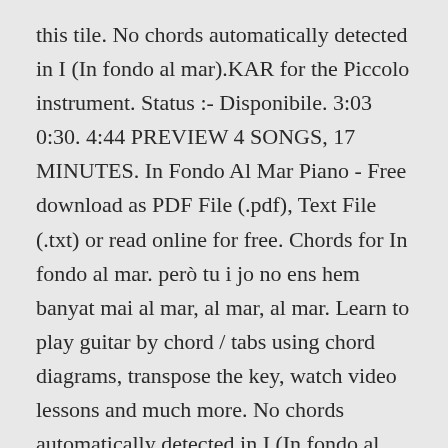this tile. No chords automatically detected in I (In fondo al mar).KAR for the Piccolo instrument. Status :- Disponibile. 3:03 0:30. 4:44 PREVIEW 4 SONGS, 17 MINUTES. In Fondo Al Mar Piano - Free download as PDF File (.pdf), Text File (.txt) or read online for free. Chords for In fondo al mar. però tu i jo no ens hem banyat mai al mar, al mar, al mar. Learn to play guitar by chord / tabs using chord diagrams, transpose the key, watch video lessons and much more. No chords automatically detected in I (In fondo al mar).KAR for the Slap Bass 1 instrument. CodyCross In Fondo al Mar Gruppo 27 Puzzle 3 Soluzioni . Subject. Queste sono le risposte per CodyCross In Fondo al Mar Gruppo 28 Puzzle 5 ... Clue: a decisive ...